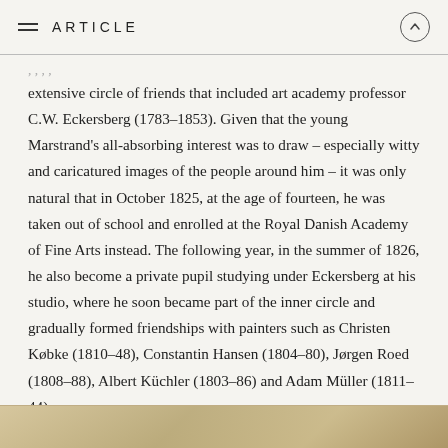ARTICLE
extensive circle of friends that included art academy professor C.W. Eckersberg (1783–1853). Given that the young Marstrand's all-absorbing interest was to draw – especially witty and caricatured images of the people around him – it was only natural that in October 1825, at the age of fourteen, he was taken out of school and enrolled at the Royal Danish Academy of Fine Arts instead. The following year, in the summer of 1826, he also become a private pupil studying under Eckersberg at his studio, where he soon became part of the inner circle and gradually formed friendships with painters such as Christen Købke (1810–48), Constantin Hansen (1804–80), Jørgen Roed (1808–88), Albert Küchler (1803–86) and Adam Müller (1811–44).
[Figure (photo): Partial view of an old photograph or painting visible at the bottom of the page]